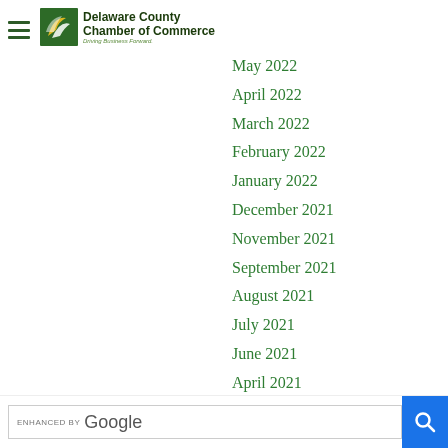[Figure (logo): Delaware County Chamber of Commerce logo with green circular emblem and text 'Driving Business Forward.']
May 2022
April 2022
March 2022
February 2022
January 2022
December 2021
November 2021
September 2021
August 2021
July 2021
June 2021
April 2021
February 2021